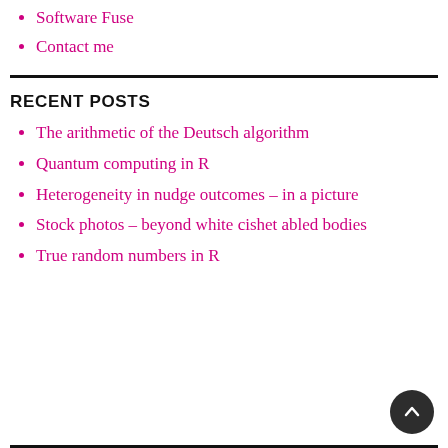Software Fuse
Contact me
RECENT POSTS
The arithmetic of the Deutsch algorithm
Quantum computing in R
Heterogeneity in nudge outcomes – in a picture
Stock photos – beyond white cishet abled bodies
True random numbers in R